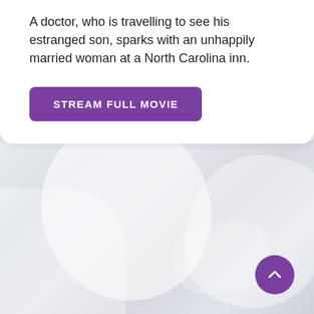A doctor, who is travelling to see his estranged son, sparks with an unhappily married woman at a North Carolina inn.
[Figure (screenshot): A purple 'STREAM FULL MOVIE' button]
[Figure (illustration): Abstract low-poly or soft geometric background image in muted grey-blue and white tones, resembling a stylized figure or landscape]